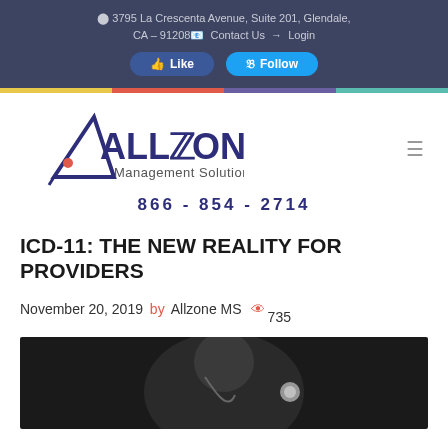9 3795 La Crescenta Avenue, Suite 201, Glendale, CA - 91208 Contact Us Login
[Figure (logo): Allzone Management Solutions logo with stylized A and Z letters in dark blue/purple]
866 - 854 - 2714
ICD-11: THE NEW REALITY FOR PROVIDERS
November 20, 2019 by Allzone MS 735
[Figure (photo): Black and white photo of a medical professional]